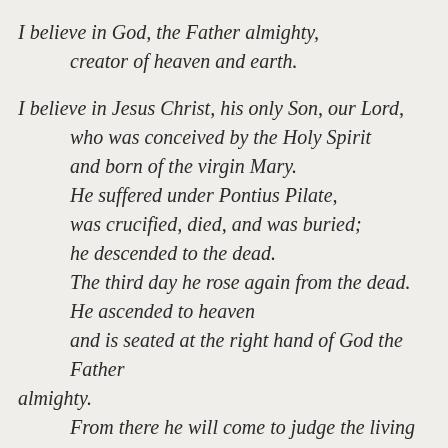I believe in God, the Father almighty,
    creator of heaven and earth.
I believe in Jesus Christ, his only Son, our Lord,
    who was conceived by the Holy Spirit
    and born of the virgin Mary.
    He suffered under Pontius Pilate,
    was crucified, died, and was buried;
    he descended to the dead.
    The third day he rose again from the dead.
    He ascended to heaven
    and is seated at the right hand of God the Father almighty.
    From there he will come to judge the living and the dead.